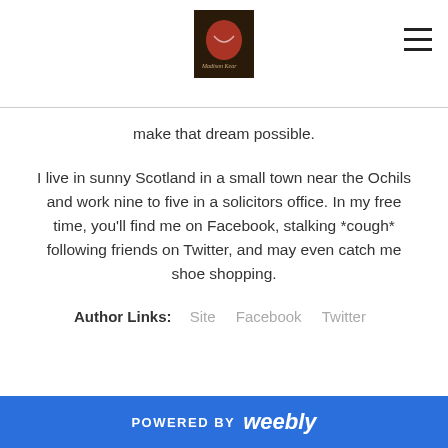[Figure (logo): Book cover logo image for website header]
make that dream possible.
I live in sunny Scotland in a small town near the Ochils and work nine to five in a solicitors office. In my free time, you'll find me on Facebook, stalking *cough* following friends on Twitter, and may even catch me shoe shopping.
Author Links:  Site   Facebook   Twitter
Giveaway:
Aimee is giving away a free digital copy of Never Say
POWERED BY weebly